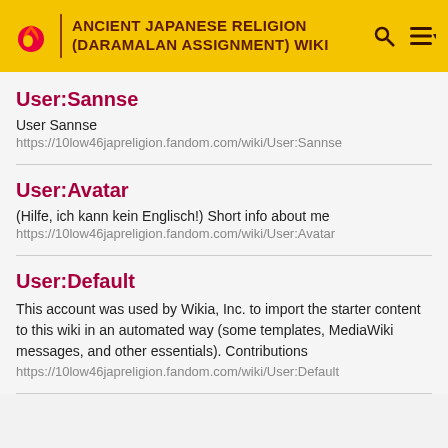ANCIENT JAPANESE RELIGION (DARAMALAN ASSIGNMENT) WIKI
User:Sannse
User Sannse
https://10low46japreligion.fandom.com/wiki/User:Sannse
User:Avatar
(Hilfe, ich kann kein Englisch!) Short info about me
https://10low46japreligion.fandom.com/wiki/User:Avatar
User:Default
This account was used by Wikia, Inc. to import the starter content to this wiki in an automated way (some templates, MediaWiki messages, and other essentials). Contributions
https://10low46japreligion.fandom.com/wiki/User:Default